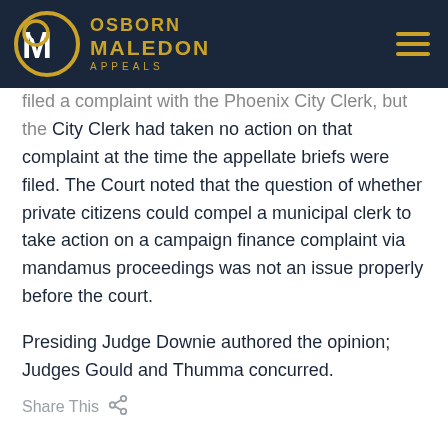Osborn Maledon Appeals
filed a complaint with the Phoenix City Clerk, but the City Clerk had taken no action on that complaint at the time the appellate briefs were filed. The Court noted that the question of whether private citizens could compel a municipal clerk to take action on a campaign finance complaint via mandamus proceedings was not an issue properly before the court.
Presiding Judge Downie authored the opinion; Judges Gould and Thumma concurred.
Share This